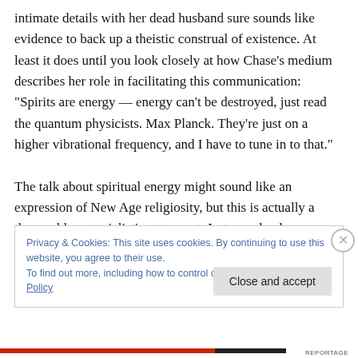intimate details with her dead husband sure sounds like evidence to back up a theistic construal of existence. At least it does until you look closely at how Chase's medium describes her role in facilitating this communication: “Spirits are energy — energy can't be destroyed, just read the quantum physicists. Max Planck. They’re just on a higher vibrational frequency, and I have to tune in to that.”

The talk about spiritual energy might sound like an expression of New Age religiosity, but this is actually a thoroughly materialistic statement. Just as a dog hears
Privacy & Cookies: This site uses cookies. By continuing to use this website, you agree to their use.
To find out more, including how to control cookies, see here: Cookie Policy